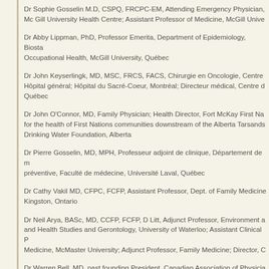Dr Sophie Gosselin M.D, CSPQ, FRCPC-EM, Attending Emergency Physician, Mc Gill University Health Centre; Assistant Professor of Medicine, McGill University
Dr Abby Lippman, PhD, Professor Emerita, Department of Epidemiology, Biostatistics and Occupational Health, McGill University, Québec
Dr John Keyserlingk, MD, MSC, FRCS, FACS, Chirurgie en Oncologie, Centre de médecine, Hôpital général; Hôpital du Sacré-Coeur, Montréal; Directeur médical, Centre de bien-être, Québec
Dr John O'Connor, MD, Family Physician; Health Director, Fort McKay First Nations; Advocate for the health of First Nations communities downstream of the Alberta Tarsands; Canadian Drinking Water Foundation, Alberta
Dr Pierre Gosselin, MD, MPH, Professeur adjoint de clinique, Département de médecine préventive, Faculté de médecine, Université Laval, Québec
Dr Cathy Vakil MD, CFPC, FCFP, Assistant Professor, Dept. of Family Medicine, Queen's University, Kingston, Ontario
Dr Neil Arya, BASc, MD, CCFP, FCFP, D Litt, Adjunct Professor, Environment and Resource Studies and Health Studies and Gerontology, University of Waterloo; Assistant Clinical Professor, Family Medicine, McMaster University; Adjunct Professor, Family Medicine; Director, C
Dr Warren Bell, MD, past founding President, Canadian Association of Physicians for the Environment, British Columbia; Past President, Association of Complementary and